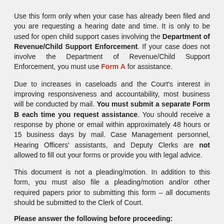Use this form only when your case has already been filed and you are requesting a hearing date and time. It is only to be used for open child support cases involving the Department of Revenue/Child Support Enforcement. If your case does not involve the Department of Revenue/Child Support Enforcement, you must use Form A for assistance.
Due to increases in caseloads and the Court's interest in improving responsiveness and accountability, most business will be conducted by mail. You must submit a separate Form B each time you request assistance. You should receive a response by phone or email within approximately 48 hours or 15 business days by mail. Case Management personnel, Hearing Officers' assistants, and Deputy Clerks are not allowed to fill out your forms or provide you with legal advice.
This document is not a pleading/motion. In addition to this form, you must also file a pleading/motion and/or other required papers prior to submitting this form – all documents should be submitted to the Clerk of Court.
Please answer the following before proceeding: